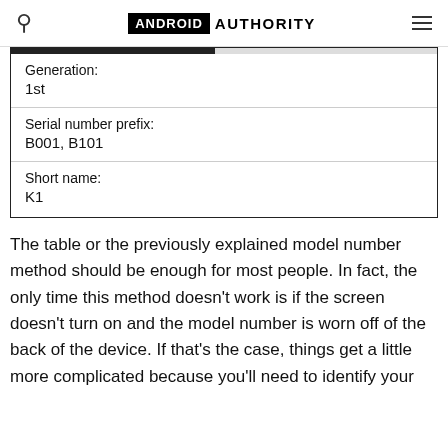ANDROID AUTHORITY
| Generation: |  |
| 1st |  |
| Serial number prefix: |  |
| B001, B101 |  |
| Short name: |  |
| K1 |  |
The table or the previously explained model number method should be enough for most people. In fact, the only time this method doesn’t work is if the screen doesn’t turn on and the model number is worn off of the back of the device. If that’s the case, things get a little more complicated because you’ll need to identify your